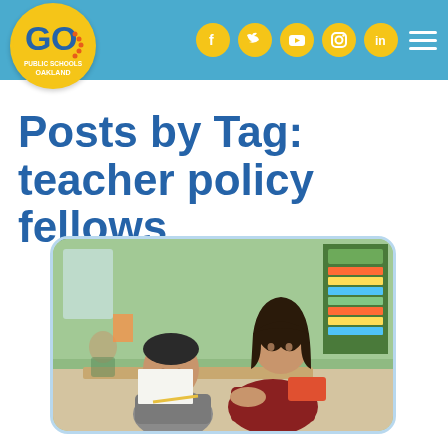GO Public Schools Oakland - Navigation header with logo and social media icons
Posts by Tag: teacher policy fellows
[Figure (photo): A female teacher with dark hair leaning over a desk helping a young boy student in a classroom setting. The classroom has green walls, educational materials on the walls, and other students visible in the background.]